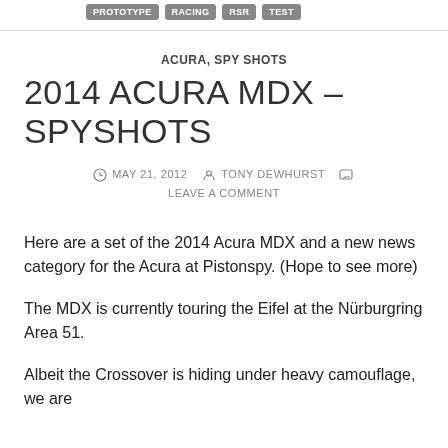PROTOTYPE · RACING · RSR · TEST
ACURA, SPY SHOTS
2014 ACURA MDX – SPYSHOTS
MAY 21, 2012  TONY DEWHURST  LEAVE A COMMENT
Here are a set of the 2014 Acura MDX and a new news category for the Acura at Pistonspy. (Hope to see more)
The MDX is currently touring the Eifel at the Nürburgring Area 51.
Albeit the Crossover is hiding under heavy camouflage, we are